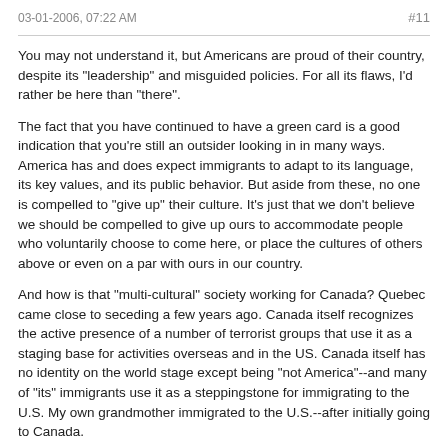03-01-2006, 07:22 AM    #11
You may not understand it, but Americans are proud of their country, despite its "leadership" and misguided policies. For all its flaws, I'd rather be here than "there".
The fact that you have continued to have a green card is a good indication that you're still an outsider looking in in many ways. America has and does expect immigrants to adapt to its language, its key values, and its public behavior. But aside from these, no one is compelled to "give up" their culture. It's just that we don't believe we should be compelled to give up ours to accommodate people who voluntarily choose to come here, or place the cultures of others above or even on a par with ours in our country.
And how is that "multi-cultural" society working for Canada? Quebec came close to seceding a few years ago. Canada itself recognizes the active presence of a number of terrorist groups that use it as a staging base for activities overseas and in the US. Canada itself has no identity on the world stage except being "not America"--and many of "its" immigrants use it as a steppingstone for immigrating to the U.S. My own grandmother immigrated to the U.S.--after initially going to Canada.
Tell me, too, please--just how is Canada faring with immigrants from cultures which do not believe in religious tolerance? Who believe that women are to be kept at home, and beaten if they get out of line? Who consider marriage with pubescent girls perfectly acceptable? And marriage by capture (kidnapping and rape) also "culturally" justified?